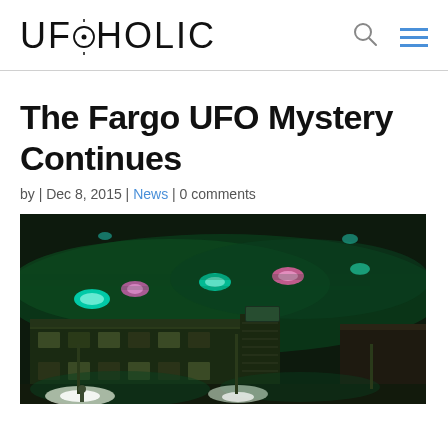UFOHOLIC
The Fargo UFO Mystery Continues
by | Dec 8, 2015 | News | 0 comments
[Figure (photo): Night-time photo of a motel exterior with eerie green and teal colored lights illuminating the building and parking lot. Multiple glowing orbs of light in pink and teal colors are visible floating above the motel structure against a dark sky.]